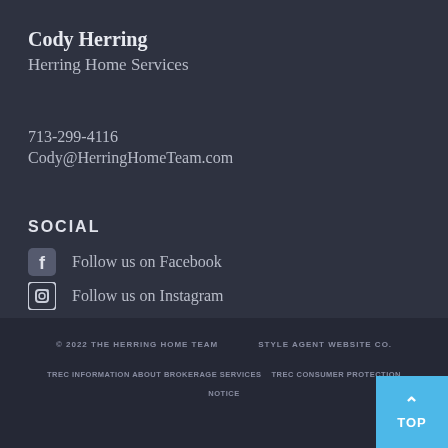Cody Herring
Herring Home Services
713-299-4116
Cody@HerringHomeTeam.com
SOCIAL
Follow us on Facebook
Follow us on Instagram
© 2022 THE HERRING HOME TEAM    STYLE AGENT WEBSITE CO.
TREC INFORMATION ABOUT BROKERAGE SERVICES    TREC CONSUMER PROTECTION NOTICE